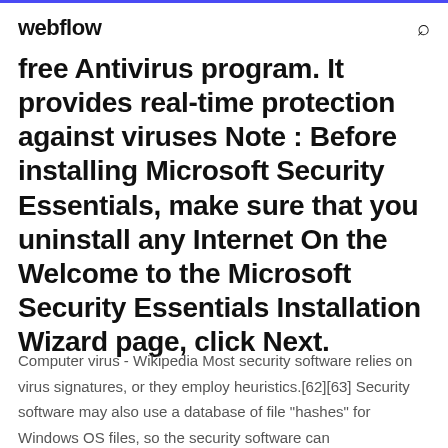webflow
free Antivirus program. It provides real-time protection against viruses Note : Before installing Microsoft Security Essentials, make sure that you uninstall any Internet On the Welcome to the Microsoft Security Essentials Installation Wizard page, click Next.
Computer virus - Wikipedia Most security software relies on virus signatures, or they employ heuristics.[62][63] Security software may also use a database of file "hashes" for Windows OS files, so the security software can